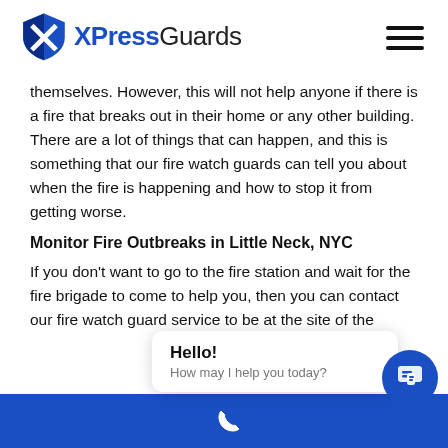XPressGuards
themselves. However, this will not help anyone if there is a fire that breaks out in their home or any other building. There are a lot of things that can happen, and this is something that our fire watch guards can tell you about when the fire is happening and how to stop it from getting worse.
Monitor Fire Outbreaks in Little Neck, NYC
If you don't want to go to the fire station and wait for the fire brigade to come to help you, then you can contact our fire watch guard service to be at the site of the fire
Hello! How may I help you today?